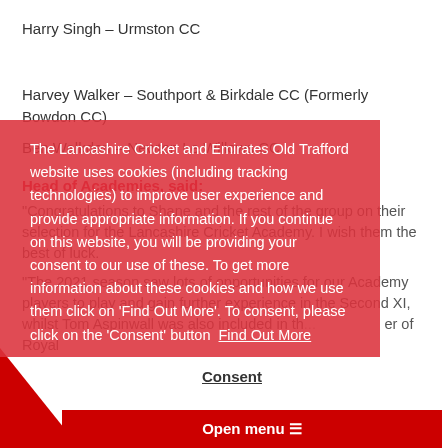Harry Singh – Urmston CC
Harvey Walker – Southport & Birkdale CC (Formerly Bowdon CC)
Ben Walkden – Newton Le Willows CC
Head of Academies, said:
"Congratulations to Shane and the rest of the group on their selection for the Lancashire Cricket Academy. I wish them the best of luck.
[Figure (screenshot): Cookie consent overlay on red background with text: The Lancashire Cricket and Emirates Old Trafford website uses cookies (including tracking technologies) to improve user experience and provide appropriate information. If you continue on this website, you will be providing your consent to our use of these. To get more information about these cookies and how we use them click on 'Find Out More'. To consent, please click on the 'Consent' button. Find Out More link and Consent button shown.]
"The 2021 season saw lots of opportunities for our Academy players to play and gain further experience in the Second XI, whilst Tom Aspinwall was also included in th... er of Royal